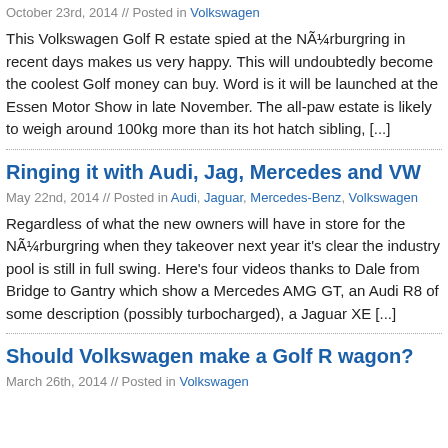October 23rd, 2014 // Posted in Volkswagen
This Volkswagen Golf R estate spied at the NÃ¼rburgring in recent days makes us very happy. This will undoubtedly become the coolest Golf money can buy. Word is it will be launched at the Essen Motor Show in late November. The all-paw estate is likely to weigh around 100kg more than its hot hatch sibling, [...]
Ringing it with Audi, Jag, Mercedes and VW
May 22nd, 2014 // Posted in Audi, Jaguar, Mercedes-Benz, Volkswagen
Regardless of what the new owners will have in store for the NÃ¼rburgring when they takeover next year it's clear the industry pool is still in full swing. Here's four videos thanks to Dale from Bridge to Gantry which show a Mercedes AMG GT, an Audi R8 of some description (possibly turbocharged), a Jaguar XE [...]
Should Volkswagen make a Golf R wagon?
March 26th, 2014 // Posted in Volkswagen